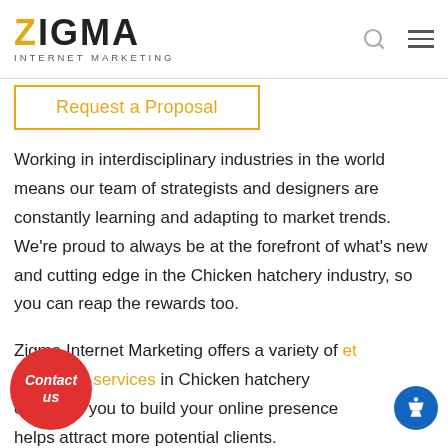ZIGMA INTERNET MARKETING
Request a Proposal
Working in interdisciplinary industries in the world means our team of strategists and designers are constantly learning and adapting to market trends. We're proud to always be at the forefront of what's new and cutting edge in the Chicken hatchery industry, so you can reap the rewards too.
Zigma Internet Marketing offers a variety of internet marketing services in Chicken hatchery market to help you to build your online presence helps attract more potential clients.